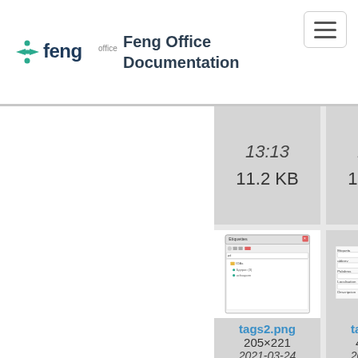[Figure (logo): Feng Office logo with teal icon and dark text reading 'feng office']
Feng Office Documentation
13:13
11.2 KB
13:13
13.5 KB
[Figure (screenshot): Screenshot of Feng Office tags interface showing a dialog with folder tree and tags list]
tags2.png
205×221
2021-03-24
13:13
5.8 KB
[Figure (screenshot): Screenshot of Feng Office tags interface showing a form]
tags3.png
418×133
2021-03-24
13:13
3.4 KB